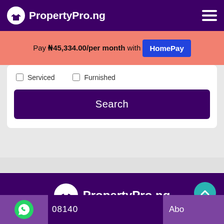PropertyPro.ng
Pay ₦45,334.00/per month with HomePay
Serviced    Furnished
Search
[Figure (logo): PropertyPro.ng logo in white on purple footer]
08140   Abo